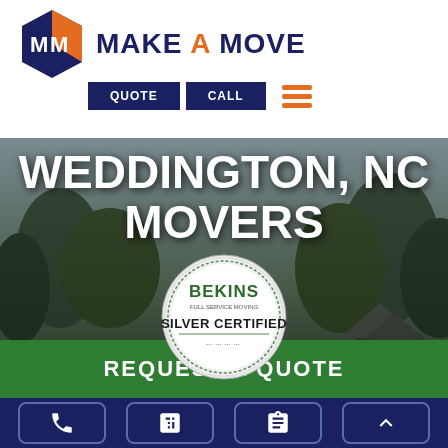[Figure (logo): Make A Move hexagon logo with MM letters in navy and orange]
MAKE A MOVE
QUOTE | CALL
[Figure (photo): Background photo of a house surrounded by trees under cloudy sky, darkened overlay]
WEDDINGTON, NC MOVERS
[Figure (logo): Bekins Silver Certified circular badge logo]
REQUEST A QUOTE
[Figure (infographic): Bottom navigation bar with phone, calculator, clipboard, and up-arrow icons on navy background]